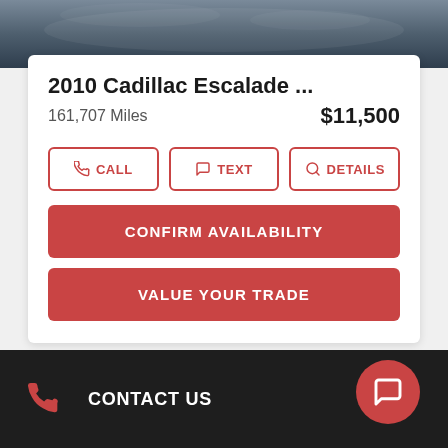[Figure (photo): Partial view of a vehicle (dark blueish-gray color), top portion of a car listing image]
2010 Cadillac Escalade ...
161,707 Miles   $11,500
CALL | TEXT | DETAILS
CONFIRM AVAILABILITY
VALUE YOUR TRADE
CONTACT US